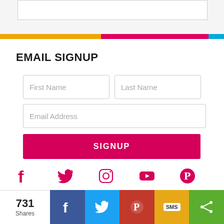[Figure (screenshot): White input box at top of page (partial)]
[Figure (infographic): Horizontal color bar with orange, pink, and blue segments]
EMAIL SIGNUP
[Figure (screenshot): Email signup form with First Name, Last Name, Email Address fields and SIGNUP button]
[Figure (infographic): Social media icons row: Facebook, Twitter, Instagram, YouTube, Pinterest in pink/magenta]
ABOUT REFORM JUDAISM
[Figure (infographic): Bottom share bar: 731 Shares, Facebook, Twitter, Pinterest, SMS, Share icons]